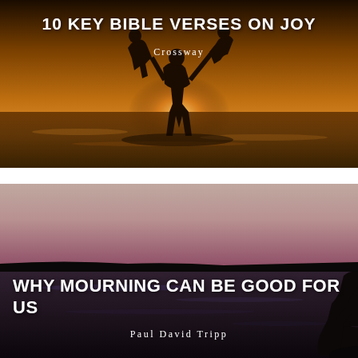[Figure (photo): Silhouette of a person holding two children by the arms at a beach during sunset, warm golden tones]
10 KEY BIBLE VERSES ON JOY
Crossway
[Figure (photo): Silhouette of a person sitting hunched over near a body of water at dusk, moody dark tones with pink-purple sky]
WHY MOURNING CAN BE GOOD FOR US
Paul David Tripp